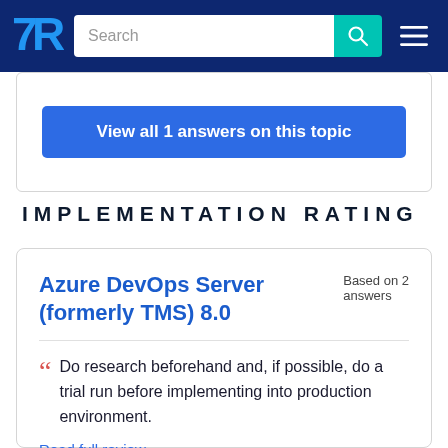TrustRadius — Search
View all 1 answers on this topic
IMPLEMENTATION RATING
Azure DevOps Server (formerly TMS) 8.0
Based on 2 answers
Do research beforehand and, if possible, do a trial run before implementing into production environment.
Read full review